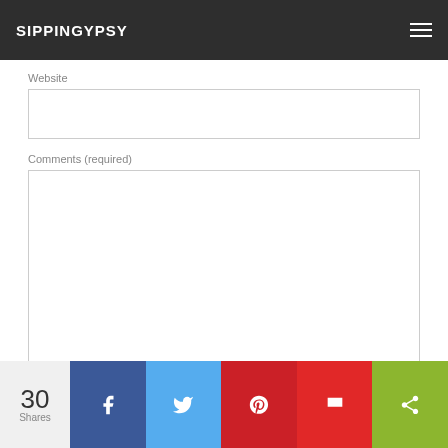SIPPINGYPSY
Website
Comments (required)
Notify me of new comments to this post by email
SUBMIT
30
Shares